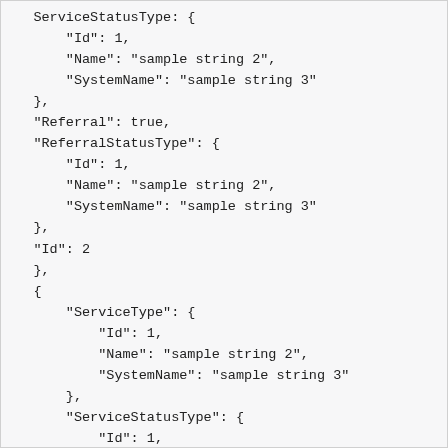ServiceStatusType: {
    "Id": 1,
    "Name": "sample string 2",
    "SystemName": "sample string 3"
},
"Referral": true,
"ReferralStatusType": {
    "Id": 1,
    "Name": "sample string 2",
    "SystemName": "sample string 3"
},
"Id": 2
},
{
    "ServiceType": {
        "Id": 1,
        "Name": "sample string 2",
        "SystemName": "sample string 3"
    },
    "ServiceStatusType": {
        "Id": 1,
        "Name": "sample string 2",
        "SystemName": "sample string 3"